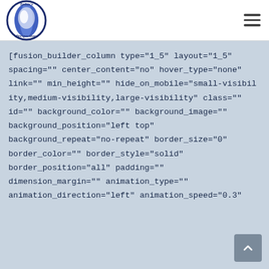Today's Perspectives logo and hamburger menu
[fusion_builder_column type="1_5" layout="1_5" spacing="" center_content="no" hover_type="none" link="" min_height="" hide_on_mobile="small-visibility,medium-visibility,large-visibility" class="" id="" background_color="" background_image="" background_position="left top" background_repeat="no-repeat" border_size="0" border_color="" border_style="solid" border_position="all" padding="" dimension_margin="" animation_type="" animation_direction="left" animation_speed="0.3"